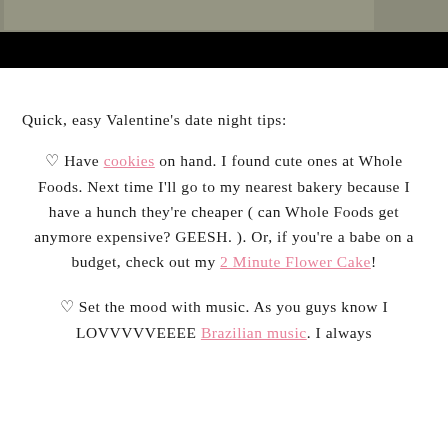[Figure (photo): Partial photo at top of page showing a dark/black lower band, appears to be a Valentine's themed table setting image partially cropped]
Quick, easy Valentine’s date night tips:
♡ Have cookies on hand. I found cute ones at Whole Foods. Next time I’ll go to my nearest bakery because I have a hunch they’re cheaper ( can Whole Foods get anymore expensive? GEESH. ). Or, if you’re a babe on a budget, check out my 2 Minute Flower Cake!
♡ Set the mood with music. As you guys know I LOVVVVVEEEE Brazilian music. I always